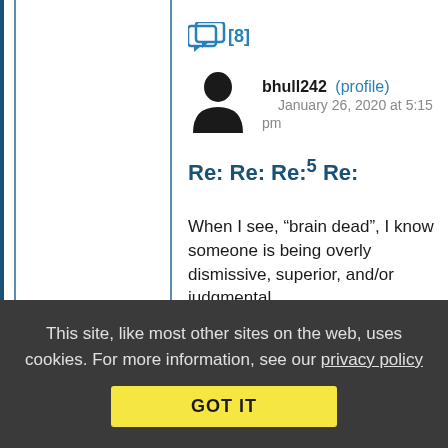[Figure (other): Thread/reply icon with [8] badge]
[Figure (other): User avatar silhouette for bhull242]
bhull242 (profile)   January 26, 2020 at 5:15 pm
Re: Re: Re:5 Re:
When I see, “brain dead”, I know someone is being overly dismissive, superior, and/or judgmental.
Reply | View in chronology
[Figure (other): Comment toolbar icons: lightbulb, laugh emoji, open quote, close quote, and more]
This site, like most other sites on the web, uses cookies. For more information, see our privacy policy
GOT IT